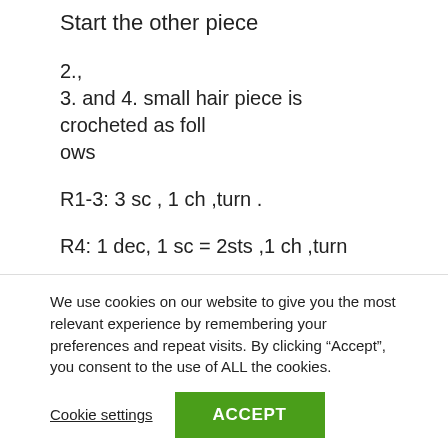Start the other piece
2.,
3. and 4. small hair piece is crocheted as follows
R1-3: 3 sc , 1 ch ,turn .
R4: 1 dec, 1 sc = 2sts ,1 ch ,turn
R5: 2 sc , 1 ch ,turn.
We use cookies on our website to give you the most relevant experience by remembering your preferences and repeat visits. By clicking “Accept”, you consent to the use of ALL the cookies.
Cookie settings
ACCEPT